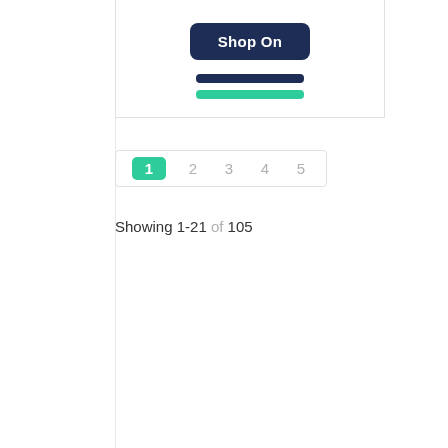[Figure (screenshot): Bottom portion of a product card showing a 'Shop On' dark navy button, a dark navy bar, and a green bar, inside a bordered card area.]
1 2 3 4 5
Showing 1-21 of 105